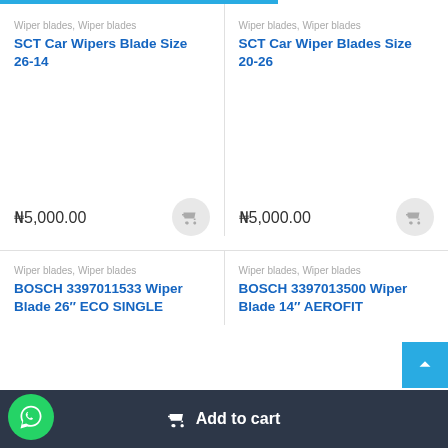Wiper blades, Wiper blades
SCT Car Wipers Blade Size 26-14
₦5,000.00
Wiper blades, Wiper blades
SCT Car Wiper Blades Size 20-26
₦5,000.00
Wiper blades, Wiper blades
BOSCH 3397011533 Wiper Blade 26″ ECO SINGLE
Wiper blades, Wiper blades
BOSCH 3397013500 Wiper Blade 14″ AEROFIT
Add to cart